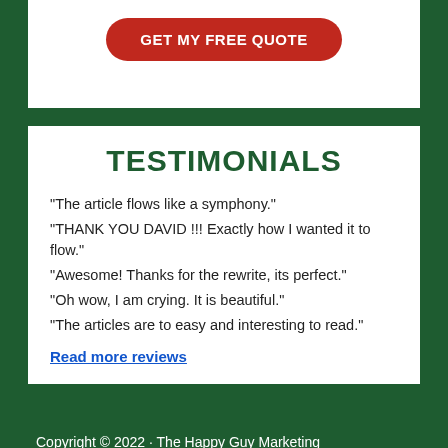[Figure (other): Red rounded rectangle CTA button with white bold text reading GET MY FREE QUOTE]
TESTIMONIALS
"The article flows like a symphony."
"THANK YOU DAVID !!! Exactly how I wanted it to flow."
"Awesome! Thanks for the rewrite, its perfect."
"Oh wow, I am crying. It is beautiful."
"The articles are to easy and interesting to read."
Read more reviews
Copyright © 2022 · The Happy Guy Marketing
Writers, ghostwriters, editors and online marketers since 2003 ( Español)